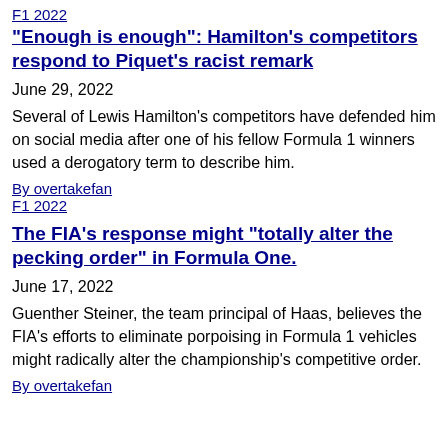F1 2022
"Enough is enough": Hamilton's competitors respond to Piquet's racist remark
June 29, 2022
Several of Lewis Hamilton's competitors have defended him on social media after one of his fellow Formula 1 winners used a derogatory term to describe him.
By overtakefan
F1 2022
The FIA's response might "totally alter the pecking order" in Formula One.
June 17, 2022
Guenther Steiner, the team principal of Haas, believes the FIA's efforts to eliminate porpoising in Formula 1 vehicles might radically alter the championship's competitive order.
By overtakefan